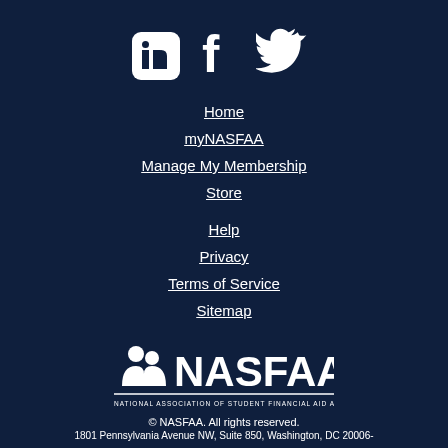[Figure (logo): Social media icons: LinkedIn, Facebook, Twitter (white icons on dark navy background)]
Home
myNASFAA
Manage My Membership
Store
Help
Privacy
Terms of Service
Sitemap
[Figure (logo): NASFAA logo - National Association of Student Financial Aid Administrators, white on dark navy]
© NASFAA. All rights reserved.
1801 Pennsylvania Avenue NW, Suite 850, Washington, DC 20006-